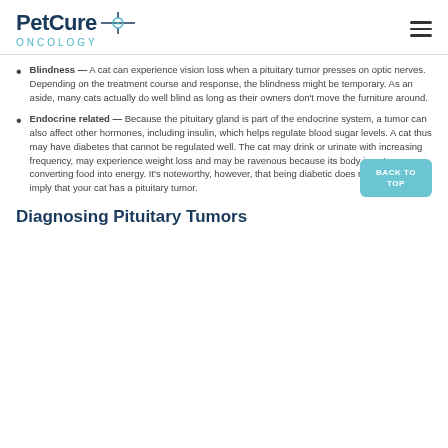PetCure ONCOLOGY
Blindness — A cat can experience vision loss when a pituitary tumor presses on optic nerves. Depending on the treatment course and response, the blindness might be temporary. As an aside, many cats actually do well blind as long as their owners don't move the furniture around.
Endocrine related — Because the pituitary gland is part of the endocrine system, a tumor can also affect other hormones, including insulin, which helps regulate blood sugar levels. A cat thus may have diabetes that cannot be regulated well. The cat may drink or urinate with increasing frequency, may experience weight loss and may be ravenous because its body is not converting food into energy. It's noteworthy, however, that being diabetic does not necessarily imply that your cat has a pituitary tumor.
Diagnosing Pituitary Tumors